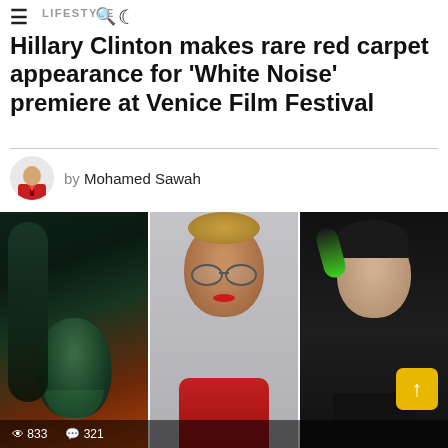LIFESTYLE
Hillary Clinton makes rare red carpet appearance for 'White Noise' premiere at Venice Film Festival
by Mohamed Sawah
[Figure (photo): Three portrait photos side by side: left - a woman with dark teal/green lighting on her face with long dark hair; center - a smiling Black woman with glasses and curly updo hair wearing a red dress; right - a woman with dark hair and green-dyed tips against a dark background.]